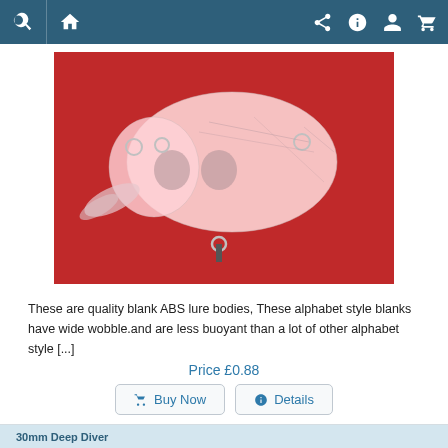Navigation bar with search, home, share, info, account, cart icons
[Figure (photo): A clear/translucent pink-white ABS plastic fishing lure body on a red background. The lure has multiple hook attachment rings and a diving lip at the front.]
These are quality blank ABS lure bodies, These alphabet style blanks have wide wobble.and are less buoyant than a lot of other alphabet style [...]
Price £0.88
Buy Now   Details
30mm Deep Diver